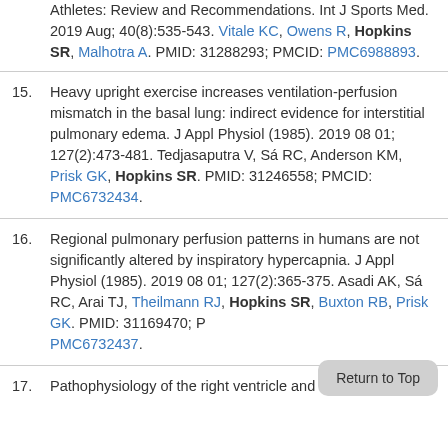Athletes: Review and Recommendations. Int J Sports Med. 2019 Aug; 40(8):535-543. Vitale KC, Owens R, Hopkins SR, Malhotra A. PMID: 31288293; PMCID: PMC6988893.
15. Heavy upright exercise increases ventilation-perfusion mismatch in the basal lung: indirect evidence for interstitial pulmonary edema. J Appl Physiol (1985). 2019 08 01; 127(2):473-481. Tedjasaputra V, Sá RC, Anderson KM, Prisk GK, Hopkins SR. PMID: 31246558; PMCID: PMC6732434.
16. Regional pulmonary perfusion patterns in humans are not significantly altered by inspiratory hypercapnia. J Appl Physiol (1985). 2019 08 01; 127(2):365-375. Asadi AK, Sá RC, Arai TJ, Theilmann RJ, Hopkins SR, Buxton RB, Prisk GK. PMID: 31169470; PMCID: PMC6732437.
17. Pathophysiology of the right ventricle and of